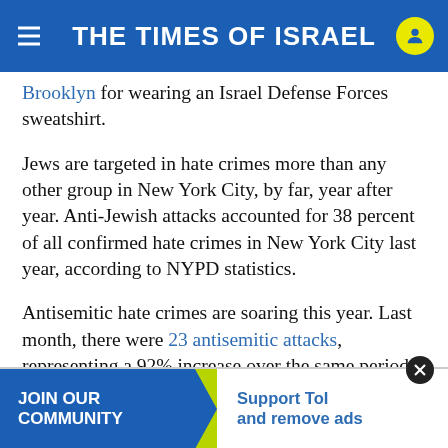THE TIMES OF ISRAEL
Brooklyn for wearing an Israel Defense Forces sweatshirt.
Jews are targeted in hate crimes more than any other group in New York City, by far, year after year. Anti-Jewish attacks accounted for 38 percent of all confirmed hate crimes in New York City last year, according to NYPD statistics.
Antisemitic hate crimes are soaring this year. Last month, there were 23 antisemitic attacks, representing a 92% increase over the same period last year.